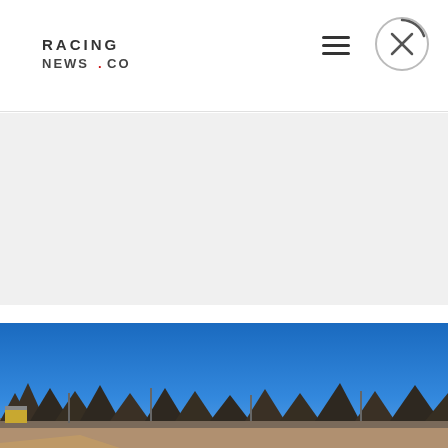RACING NEWS.CO — website header with logo, hamburger menu, and close button
[Figure (photo): Grey/white advertisement banner area (empty)]
[Figure (photo): Outdoor photograph of a racing track under a clear blue sky with trees and light poles visible along the horizon]